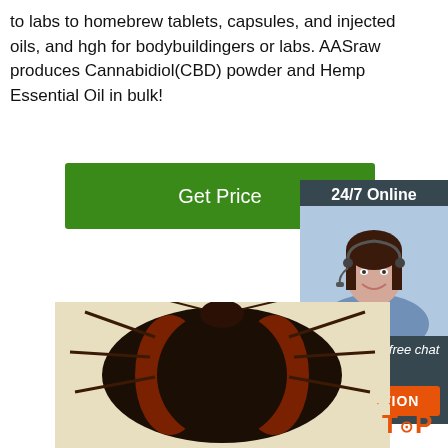to labs to homebrew tablets, capsules, and injected oils, and hgh for bodybuildingers or labs. AASraw produces Cannabidiol(CBD) powder and Hemp Essential Oil in bulk!
Get Price
24/7 Online
[Figure (photo): Customer service representative woman with headset smiling]
Click here for free chat !
QUOTATION
[Figure (photo): Close-up overhead view of a large cockroach (American cockroach) specimen showing dark brown/black body with reddish-brown wing markings on a cream/beige background]
TOP